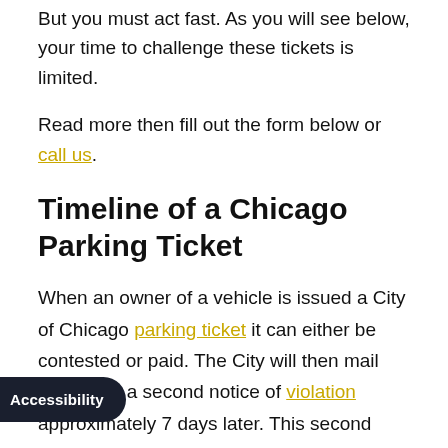But you must act fast. As you will see below, your time to challenge these tickets is limited.
Read more then fill out the form below or call us.
Timeline of a Chicago Parking Ticket
When an owner of a vehicle is issued a City of Chicago parking ticket it can either be contested or paid. The City will then mail the owner a second notice of violation approximately 7 days later. This second notice allows the owner 21 days to request a hearing or pay the ticket. This notice is mailed to wherever the vehicle is registered